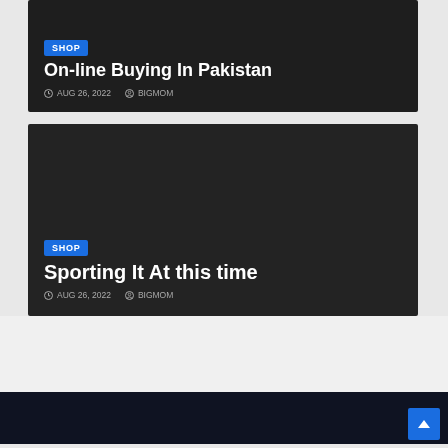[Figure (screenshot): Dark card with SHOP badge, title 'On-line Buying In Pakistan', date AUG 26 2022, author BIGMOM]
[Figure (screenshot): Dark card with SHOP badge, title 'Sporting It At this time', date AUG 26 2022, author BIGMOM]